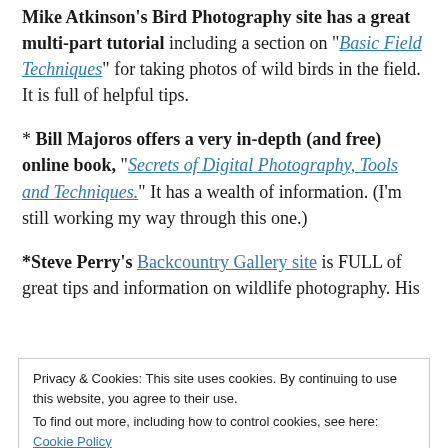Mike Atkinson's Bird Photography site has a great multi-part tutorial including a section on "Basic Field Techniques" for taking photos of wild birds in the field. It is full of helpful tips.
* Bill Majoros offers a very in-depth (and free) online book, "Secrets of Digital Photography, Tools and Techniques." It has a wealth of information. (I'm still working my way through this one.)
*Steve Perry's Backcountry Gallery site is FULL of great tips and information on wildlife photography. His …
Privacy & Cookies: This site uses cookies. By continuing to use this website, you agree to their use. To find out more, including how to control cookies, see here: Cookie Policy
Close and accept
* Be sure to check out the website of your camera's …